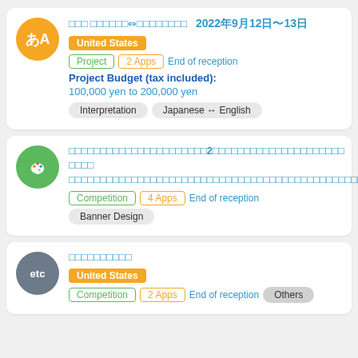Card 1: Translation/Interpretation project, United States, 2022年9月12日〜13日, Project, 2 Apps, End of reception, Project Budget (tax included): 100,000 yen to 200,000 yen, Interpretation, Japanese ↔ English
Card 2: Banner design competition (Japanese title), Competition, 4 Apps, End of reception, Banner Design
Card 3: Japanese title, United States, Competition, 2 Apps, End of reception, Others